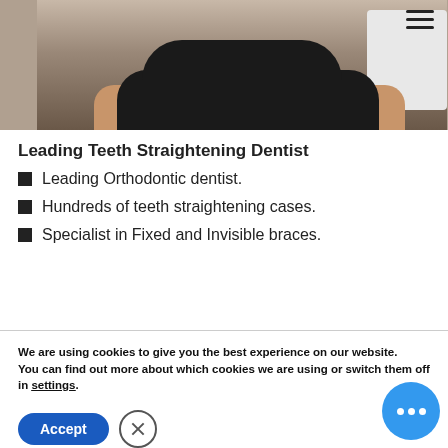[Figure (photo): A dentist or dental professional wearing a dark (black) scrub top, partial body shot from waist up, standing in a dental clinic environment with white dental equipment visible in the background.]
Leading Teeth Straightening Dentist
Leading Orthodontic dentist.
Hundreds of teeth straightening cases.
Specialist in Fixed and Invisible braces.
We are using cookies to give you the best experience on our website.
You can find out more about which cookies we are using or switch them off in settings.